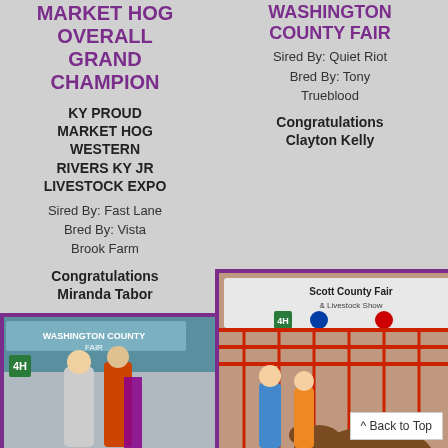MARKET HOG OVERALL GRAND CHAMPION
KY PROUD MARKET HOG WESTERN RIVERS KY JR LIVESTOCK EXPO
Sired By: Fast Lane
Bred By: Vista Brook Farm
Congratulations Miranda Tabor
[Figure (photo): Two people and a market hog at Washington County Fair with purple ribbon/banner, number 17 visible]
CHAMPION LIGHTWEIGHT
WASHINGTON COUNTY FAIR
Sired By: Quiet Riot
Bred By: Tony Trueblood
Congratulations Clayton Kelly
[Figure (photo): Two children with a goat at Scott County Fair & Livestock Show, red fencing in background]
OVERALL CH. BREEDING GILT
^ Back to Top